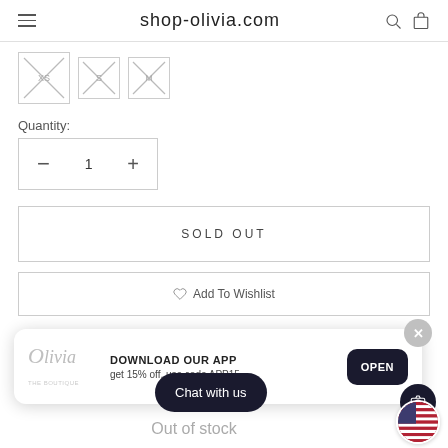shop-olivia.com
[Figure (other): Three crossed-out size swatch placeholders (XS, S, M or similar), shown as image placeholder icons with X marks]
Quantity:
[Figure (other): Quantity stepper control showing minus button, value 1, plus button]
SOLD OUT
Add To Wishlist
[Figure (infographic): App download banner: Olivia logo, DOWNLOAD OUR APP, get 15% off, use code APP15, OPEN button, close X]
Chat with us
Out of stock